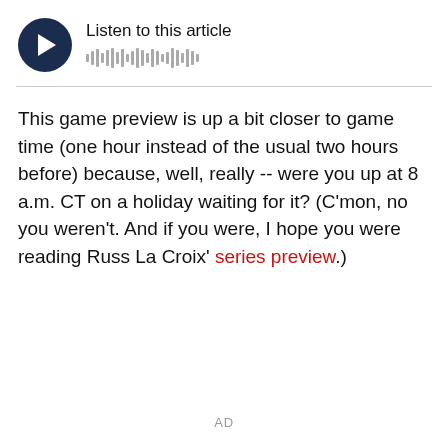[Figure (other): Audio player widget with dark navy circular play button and waveform visualization, labeled 'Listen to this article']
This game preview is up a bit closer to game time (one hour instead of the usual two hours before) because, well, really -- were you up at 8 a.m. CT on a holiday waiting for it? (C'mon, no you weren't. And if you were, I hope you were reading Russ La Croix' series preview.)
AD